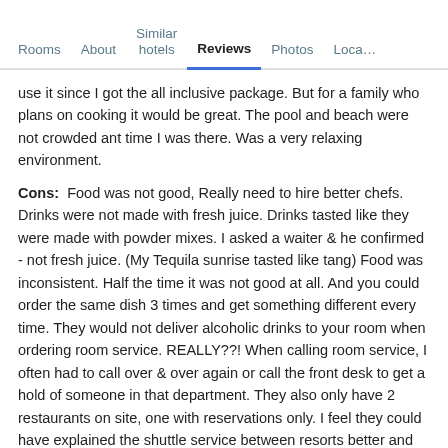Rooms | About | Similar hotels | Reviews | Photos | Loca…
use it since I got the all inclusive package. But for a family who plans on cooking it would be great. The pool and beach were not crowded ant time I was there. Was a very relaxing environment.
Cons: Food was not good, Really need to hire better chefs. Drinks were not made with fresh juice. Drinks tasted like they were made with powder mixes. I asked a waiter & he confirmed - not fresh juice. (My Tequila sunrise tasted like tang) Food was inconsistent. Half the time it was not good at all. And you could order the same dish 3 times and get something different every time. They would not deliver alcoholic drinks to your room when ordering room service. REALLY??! When calling room service, I often had to call over & over again or call the front desk to get a hold of someone in that department. They also only have 2 restaurants on site, one with reservations only. I feel they could have explained the shuttle service between resorts better and especially when booking dinner reservations at the other resorts.